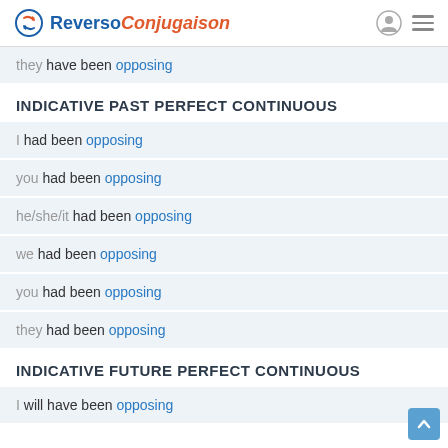Reverso Conjugaison
they have been opposing
INDICATIVE PAST PERFECT CONTINUOUS
I had been opposing
you had been opposing
he/she/it had been opposing
we had been opposing
you had been opposing
they had been opposing
INDICATIVE FUTURE PERFECT CONTINUOUS
I will have been opposing